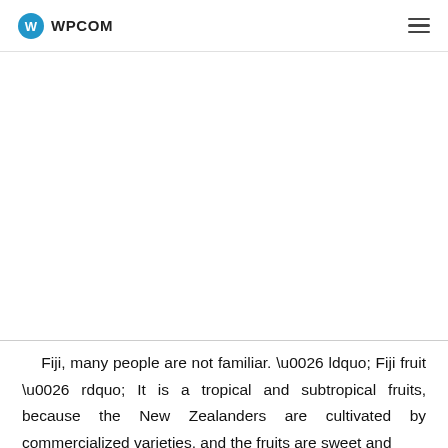WPCOM
Fiji, many people are not familiar. \u0026 ldquo; Fiji fruit \u0026 rdquo; It is a tropical and subtropical fruits, because the New Zealanders are cultivated by commercialized varieties, and the fruits are sweet and